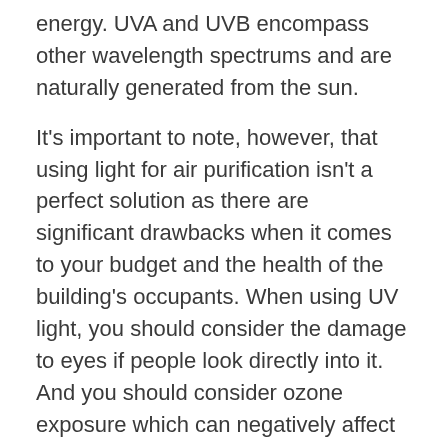energy. UVA and UVB encompass other wavelength spectrums and are naturally generated from the sun.
It's important to note, however, that using light for air purification isn't a perfect solution as there are significant drawbacks when it comes to your budget and the health of the building's occupants. When using UV light, you should consider the damage to eyes if people look directly into it. And you should consider ozone exposure which can negatively affect people's lungs and breathing. Another factor to consider is the maintenance of the UV lights. The bulbs are cumbersome to clean and costly to replace.